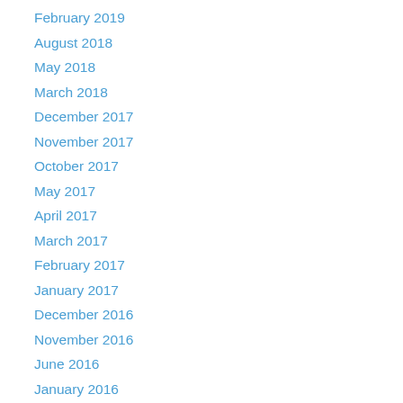February 2019
August 2018
May 2018
March 2018
December 2017
November 2017
October 2017
May 2017
April 2017
March 2017
February 2017
January 2017
December 2016
November 2016
June 2016
January 2016
December 2015
November 2015
October 2015
September 2015